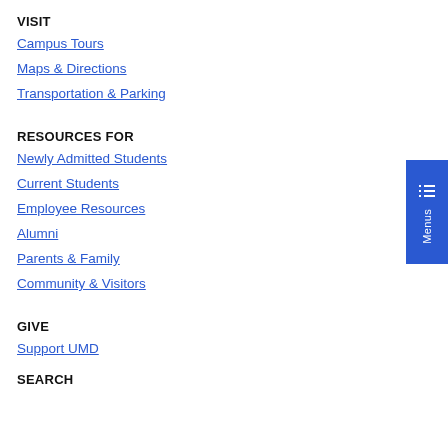VISIT
Campus Tours
Maps & Directions
Transportation & Parking
RESOURCES FOR
Newly Admitted Students
Current Students
Employee Resources
Alumni
Parents & Family
Community & Visitors
GIVE
Support UMD
SEARCH